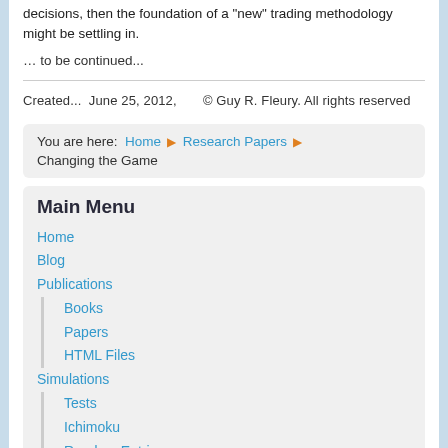decisions, then the foundation of a "new" trading methodology might be settling in.
… to be continued...
Created...  June 25, 2012,      © Guy R. Fleury. All rights reserved
You are here:  Home ▶ Research Papers ▶ Changing the Game
Main Menu
Home
Blog
Publications
Books
Papers
HTML Files
Simulations
Tests
Ichimoku
Random Entries
Myst's XDEV